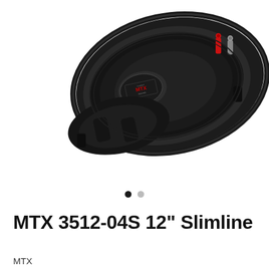[Figure (photo): MTX 3512-04S 12 inch Slimline subwoofer speaker shown from the back/side angle, black circular speaker with mounting rim, red and silver terminal connectors visible at top, MTX logo label on center, white background.]
• •
MTX 3512-04S 12" Slimline
MTX